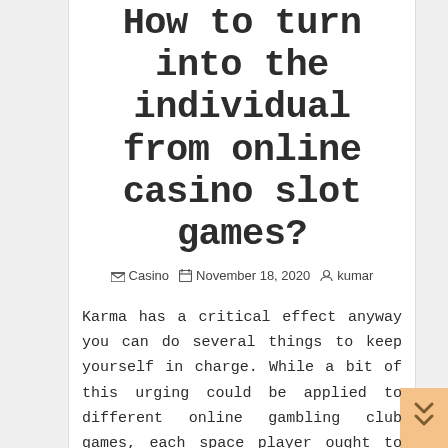How to turn into the individual from online casino slot games?
Casino   November 18, 2020   kumar
Karma has a critical effect anyway you can do several things to keep yourself in charge. While a bit of this urging could be applied to different online gambling club games, each space player ought to scrutinize these tips warily before play. Recall that there is no structure or puzzle to prevailing at on the web or land based